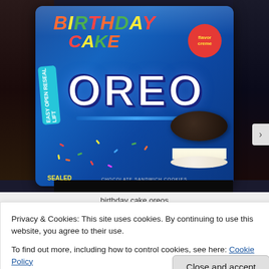[Figure (photo): Photo of a Birthday Cake flavor Oreo cookie package. Blue bag with colorful Birthday Cake text with candles, OREO logo in white, flavor creme badge in red, a cookie shown on the right side, SEALED label at bottom left, CHOCOLATE SANDWICH COOKIES text at bottom.]
birthday cake oreos
Privacy & Cookies: This site uses cookies. By continuing to use this website, you agree to their use.
To find out more, including how to control cookies, see here: Cookie Policy
Close and accept